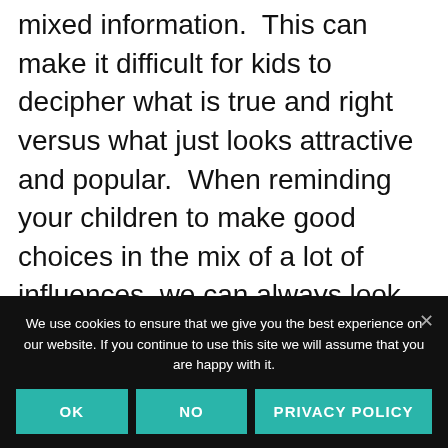mixed information.  This can make it difficult for kids to decipher what is true and right versus what just looks attractive and popular.  When reminding your children to make good choices in the mix of a lot of influences, we can always look at what Solomon says in Proverbs.  Solomon was a prime example of someone who asked for godly wisdom. When Solomon
We use cookies to ensure that we give you the best experience on our website. If you continue to use this site we will assume that you are happy with it.